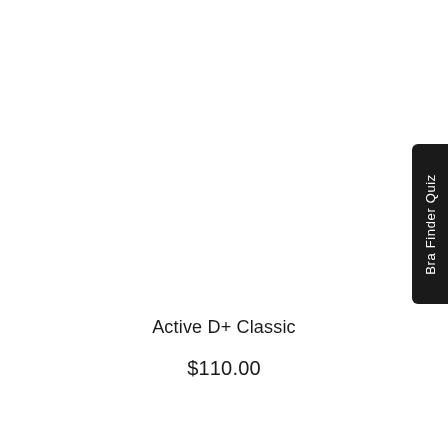[Figure (other): White background product image area (image not visible)]
Active D+ Classic
$110.00
Bra Finder Quiz